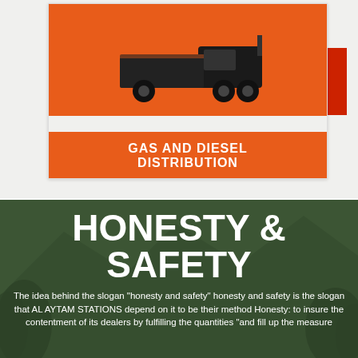[Figure (photo): Orange utility vehicle / truck on orange background with text banner 'GAS AND DIESEL DISTRIBUTION']
HONESTY & SAFETY
The idea behind the slogan "honesty and safety" honesty and safety is the slogan that AL AYTAM STATIONS depend on it to be their method Honesty: to insure the contentment of its dealers by fulfilling the quantities "and fill up the measure